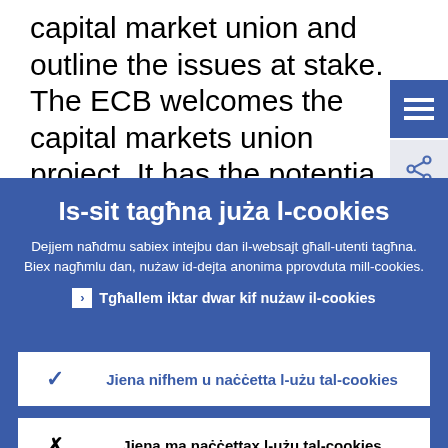capital market union and outline the issues at stake. The ECB welcomes the capital markets union project. It has the potential to complement the banking union, strengthen Economic and Monetary Union
Is-sit tagħna juża l-cookies
Dejjem naħdmu sabiex intejbu dan il-websajt għall-utenti tagħna. Biex nagħmlu dan, nużaw id-dejta anonima pprovduta mill-cookies.
▸ Tgħallem iktar dwar kif nużaw il-cookies
✓ Jiena nifhem u naċċetta l-użu tal-cookies
✗ Jiena ma naċċettax l-użu tal-cookies